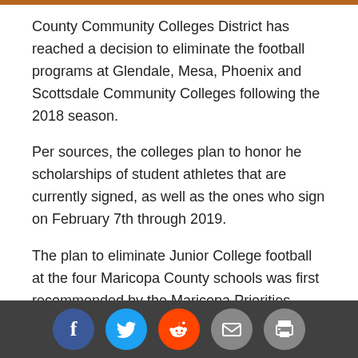County Community Colleges District has reached a decision to eliminate the football programs at Glendale, Mesa, Phoenix and Scottsdale Community Colleges following the 2018 season.
Per sources, the colleges plan to honor he scholarships of student athletes that are currently signed, as well as the ones who sign on February 7th through 2019.
The plan to eliminate Junior College football at the four Maricopa County schools was first recommended by the Maricopa Priorities Athletic Task Force. In 2012 a series of "Task Forces" were commissioned by then-chancellor Rufus Glasper, with each and every department of the Maricopa County Community College District set to undergo an examination to see how students might be better served. The Maricopa Priorities Athletics Task Force was formed as part of the contract 2012